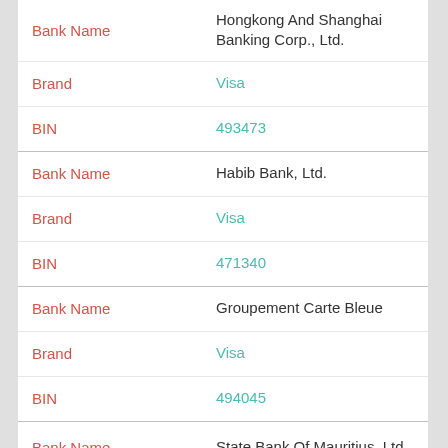| Field | Value |
| --- | --- |
| Bank Name | Hongkong And Shanghai Banking Corp., Ltd. |
| Brand | Visa |
| BIN | 493473 |
| Bank Name | Habib Bank, Ltd. |
| Brand | Visa |
| BIN | 471340 |
| Bank Name | Groupement Carte Bleue |
| Brand | Visa |
| BIN | 494045 |
| Bank Name | State Bank Of Mauritius, Ltd. |
| Brand | Visa |